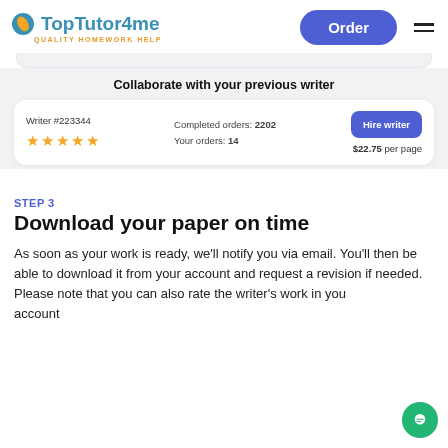TopTutor4me — QUALITY HOMEWORK HELP | Order
Collaborate with your previous writer
Writer #223344 | Completed orders: 2202 | Your orders: 14 | Hire writer | $22.75 per page
STEP 3
Download your paper on time
As soon as your work is ready, we'll notify you via email. You'll then be able to download it from your account and request a revision if needed. Please note that you can also rate the writer's work in your account